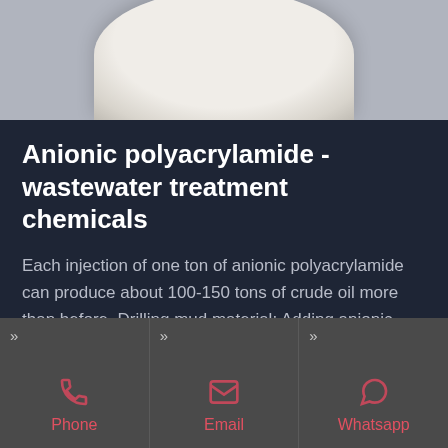[Figure (photo): White/cream powder product shown as an elliptical mound against a grey background, viewed from above.]
Anionic polyacrylamide - wastewater treatment chemicals
Each injection of one ton of anionic polyacrylamide can produce about 100-150 tons of crude oil more than before. Drilling mud material: Adding anionic polyacrylamide to drilling mud material can prolong service
Phone | Email | Whatsapp